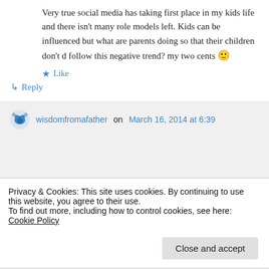Very true social media has taking first place in my kids life and there isn't many role models left. Kids can be influenced but what are parents doing so that their children don't d follow this negative trend? my two cents 🙂
★ Like
↳ Reply
wisdomfromafather on March 16, 2014 at 6:39
Privacy & Cookies: This site uses cookies. By continuing to use this website, you agree to their use.
To find out more, including how to control cookies, see here: Cookie Policy
Close and accept
★ Like